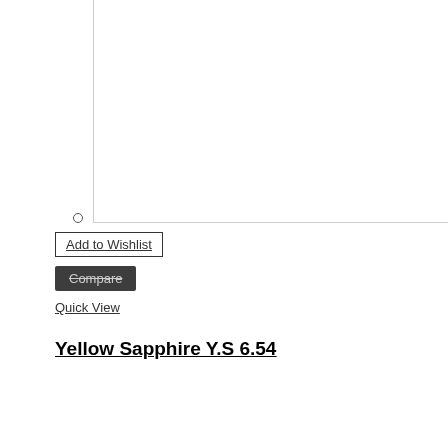[Figure (photo): Product image area (white/blank, cropped screenshot of gemstone product page image area)]
Add to Wishlist
Compare
Quick View
Yellow Sapphire Y.S 6.54
|  | : |  |
| --- | --- | --- |
| Weight in Cts. | : | 6.54 |
| Mounted or Unmounted | : | UNMOUNTED |
| Colour | : | Yellow |